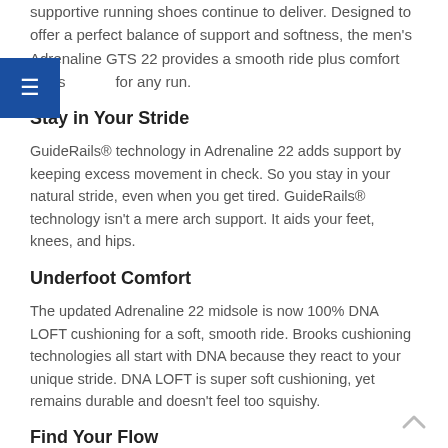supportive running shoes continue to deliver. Designed to offer a perfect balance of support and softness, the men's Adrenaline GTS 22 provides a smooth ride plus comfort that's for any run.
Stay in Your Stride
GuideRails® technology in Adrenaline 22 adds support by keeping excess movement in check. So you stay in your natural stride, even when you get tired. GuideRails® technology isn't a mere arch support. It aids your feet, knees, and hips.
Underfoot Comfort
The updated Adrenaline 22 midsole is now 100% DNA LOFT cushioning for a soft, smooth ride. Brooks cushioning technologies all start with DNA because they react to your unique stride. DNA LOFT is super soft cushioning, yet remains durable and doesn't feel too squishy.
Find Your Flow
The new soft midsole and Segmented Crash Pad in Adrenaline 22 team up for easier flow from landing to toe-off.